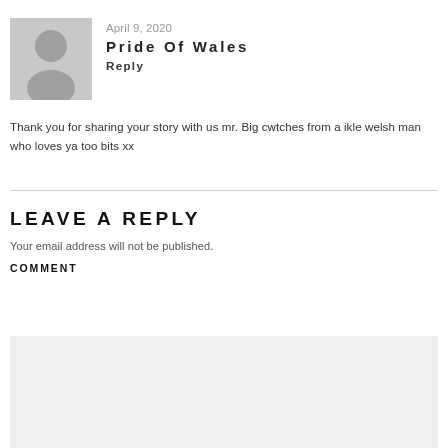[Figure (illustration): Gray placeholder avatar icon of a person silhouette]
April 9, 2020
Pride Of Wales
Reply
Thank you for sharing your story with us mr. Big cwtches from a ikle welsh man who loves ya too bits xx
LEAVE A REPLY
Your email address will not be published.
COMMENT